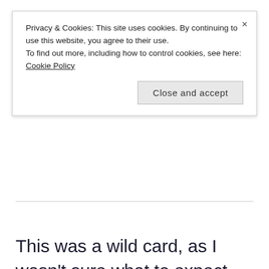Privacy & Cookies: This site uses cookies. By continuing to use this website, you agree to their use.
To find out more, including how to control cookies, see here: Cookie Policy
Close and accept
This was a wild card, as I wasn't sure what to expect. #bookreview #graphicnovel #mermaid